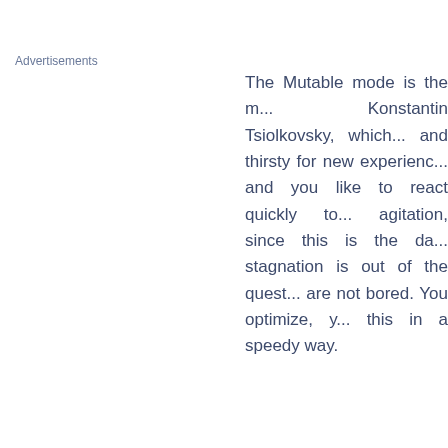Advertisements
The Mutable mode is the m... Konstantin Tsiolkovsky, which... and thirsty for new experienc... and you like to react quickly to... agitation, since this is the da... stagnation is out of the quest... are not bored. You optimize, y... this in a speedy way.